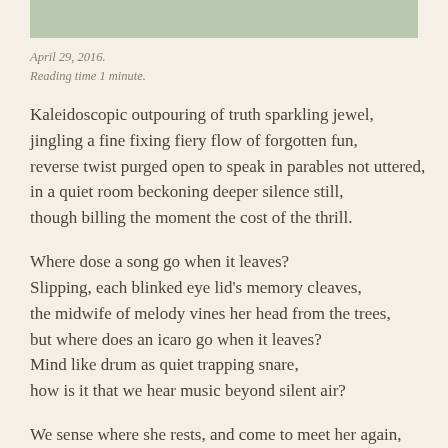[Figure (illustration): Muted sage/green rectangular banner image at top of page]
April 29, 2016.
Reading time 1 minute.
Kaleidoscopic outpouring of truth sparkling jewel,
jingling a fine fixing fiery flow of forgotten fun,
reverse twist purged open to speak in parables not uttered,
in a quiet room beckoning deeper silence still,
though billing the moment the cost of the thrill.
Where dose a song go when it leaves?
Slipping, each blinked eye lid's memory cleaves,
the midwife of melody vines her head from the trees,
but where does an icaro go when it leaves?
Mind like drum as quiet trapping snare,
how is it that we hear music beyond silent air?
We sense where she rests, and come to meet her again,